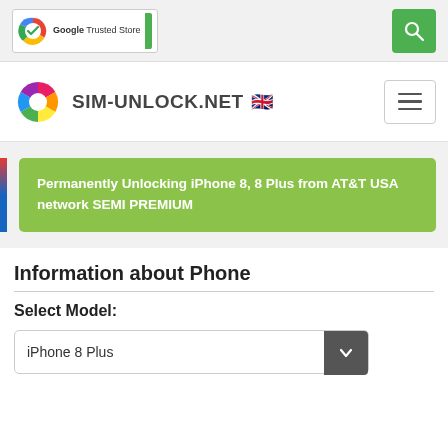[Figure (logo): Google Trusted Store badge with green checkmark circle and Google branding]
[Figure (logo): Search button (magnifying glass icon) in green square]
[Figure (logo): SIM-UNLOCK.NET logo with colorful pinwheel icon and UK flag emoji]
[Figure (other): Hamburger menu button (three horizontal lines)]
Permanently Unlocking iPhone 8, 8 Plus from AT&T USA network SEMI PREMIUM
Information about Phone
Select Model:
iPhone 8 Plus